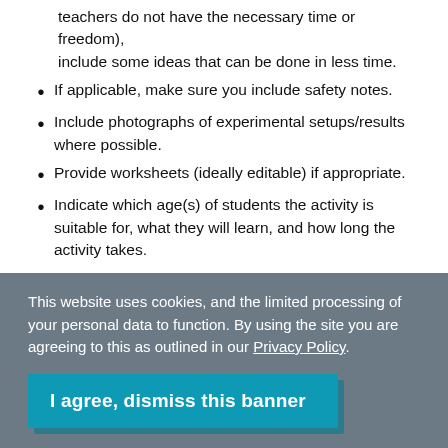teachers do not have the necessary time or freedom), include some ideas that can be done in less time.
If applicable, make sure you include safety notes.
Include photographs of experimental setups/results where possible.
Provide worksheets (ideally editable) if appropriate.
Indicate which age(s) of students the activity is suitable for, what they will learn, and how long the activity takes.
This website uses cookies, and the limited processing of your personal data to function. By using the site you are agreeing to this as outlined in our Privacy Policy.
I agree, dismiss this banner